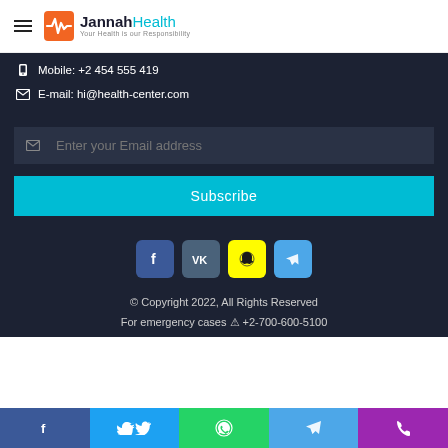[Figure (logo): Jannah Health logo with heartbeat icon, tagline: Your Health is our Responsibility]
Mobile: +2 454 555 419
E-mail: hi@health-center.com
[Figure (other): Email subscription input field with placeholder 'Enter your Email address']
[Figure (other): Subscribe button in teal/cyan color]
[Figure (other): Social media icons: Facebook (blue), VK (steel blue), Snapchat (yellow), Telegram (light blue)]
© Copyright 2022, All Rights Reserved
For emergency cases ⚠ +2-700-600-5100
[Figure (other): Bottom bar with 5 social/contact icons: Facebook, Twitter, WhatsApp, Telegram, Phone]